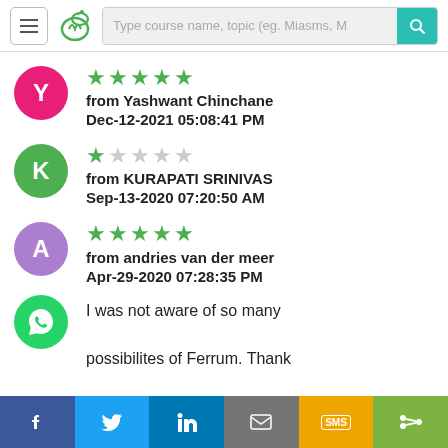[Figure (screenshot): Navigation header with hamburger menu, logo, search bar and search button]
★★★★★ from Yashwant Chinchane Dec-12-2021 05:08:41 PM
★☆☆☆☆ from KURAPATI SRINIVAS Sep-13-2020 07:20:50 AM
★★★★★ from andries van der meer Apr-29-2020 07:28:35 PM I was not aware of so many possibilites of Ferrum. Thank
[Figure (logo): WhatsApp floating button]
f  Twitter  in  Email  SMS  Share